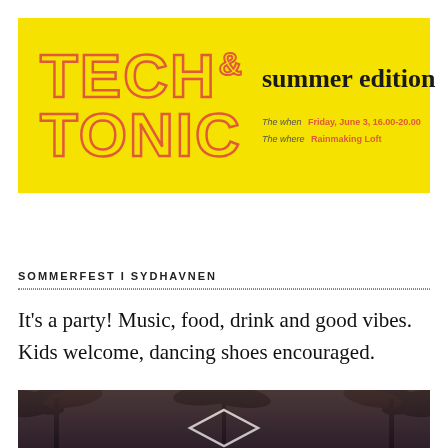[Figure (illustration): Yellow banner with 'TECH & TONIC' in large outlined red/orange letters on yellow background, with 'summer edition' in handwritten black script. Event details: The when: Friday, June 3, 16.00-20.00. The where: Rainmaking Loft.]
SOMMERFEST I SYDHAVNEN
It's a party! Music, food, drink and good vibes. Kids welcome, dancing shoes encouraged.
[Figure (photo): Dark toned photo of palm trees silhouettes against a light sky, with geometric diamond/hexagon shape in white overlay in the center bottom.]